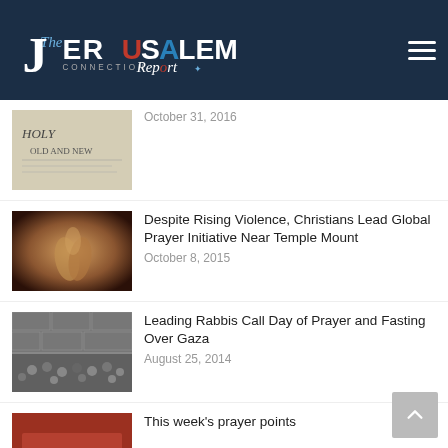The Jerusalem Connection Report
[Figure (photo): Holy Bible open book thumbnail]
October 31, 2016
Despite Rising Violence, Christians Lead Global Prayer Initiative Near Temple Mount
[Figure (photo): Clasped praying hands in sepia tone]
October 8, 2015
Leading Rabbis Call Day of Prayer and Fasting Over Gaza
[Figure (photo): Large crowd gathered at the Western Wall]
August 25, 2014
This week's prayer points
[Figure (photo): Red/orange thumbnail for prayer points article]